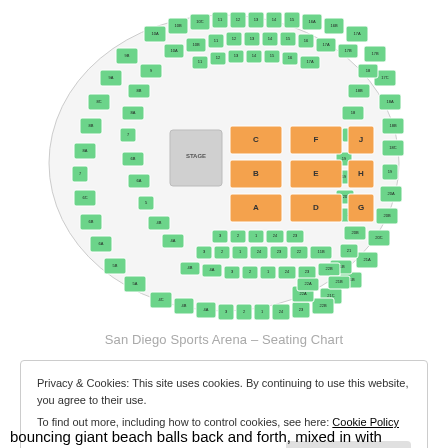[Figure (other): San Diego Sports Arena seating chart showing an oval arena with numbered green sections around the perimeter and orange floor sections (A, B, C, D, E, F, G, H, J) with a central stage area.]
San Diego Sports Arena – Seating Chart
Privacy & Cookies: This site uses cookies. By continuing to use this website, you agree to their use.
To find out more, including how to control cookies, see here: Cookie Policy
bouncing giant beach balls back and forth, mixed in with